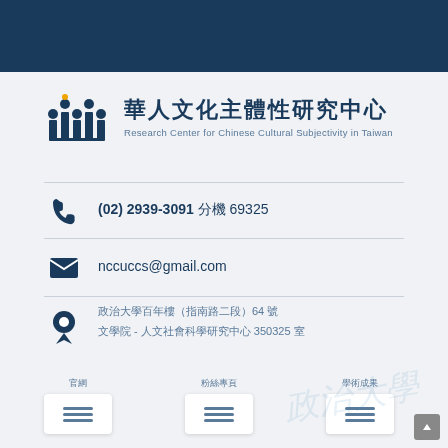[Figure (logo): Research Center for Chinese Cultural Subjectivity in Taiwan logo with stylized building/people icon in dark blue and gold dot, followed by Chinese characters and English subtitle]
華人文化主體性研究中心
Research Center for Chinese Cultural Subjectivity in Taiwan
(02) 2939-3091 分機 69325
nccuccs@gmail.com
政治大學百年樓（指南路二段） 64 號
文學院 - 人文社會科學研究中心 350325 室